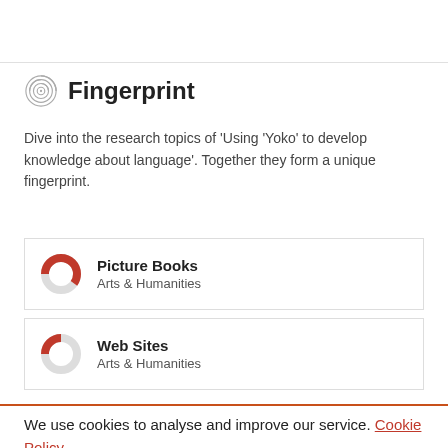Fingerprint
Dive into the research topics of 'Using 'Yoko' to develop knowledge about language'. Together they form a unique fingerprint.
[Figure (donut-chart): Donut chart showing partial fill (approx 60%) in red/crimson for Picture Books, Arts & Humanities]
Picture Books
Arts & Humanities
[Figure (donut-chart): Donut chart showing partial fill (approx 25%) in red/crimson for Web Sites, Arts & Humanities]
Web Sites
Arts & Humanities
We use cookies to analyse and improve our service. Cookie Policy